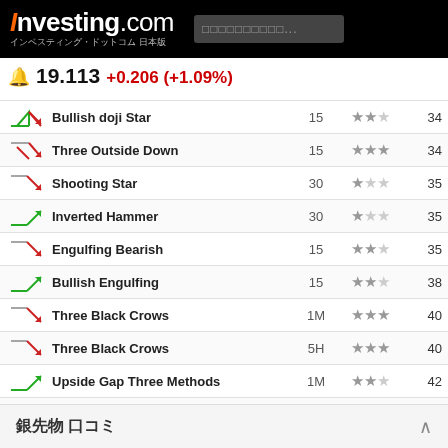Investing.com インベスティング・ドットコム 日本版
🔔 19.113 +0.206 (+1.09%)
| Icon | Pattern | Time | Stars | Value |
| --- | --- | --- | --- | --- |
| ↗ (bullish) | Bullish doji Star | 15 | ★★☆ | 34 |
| ↘ (bearish) | Three Outside Down | 15 | ★★★ | 34 |
| ↘ (bearish) | Shooting Star | 30 | ★☆☆ | 35 |
| ↗ (bullish) | Inverted Hammer | 30 | ★☆☆ | 35 |
| ↘ (bearish) | Engulfing Bearish | 15 | ★★☆ | 35 |
| ↗ (bullish) | Bullish Engulfing | 15 | ★★☆ | 38 |
| ↘ (bearish) | Three Black Crows | 1M | ★★★ | 40 |
| ↘ (bearish) | Three Black Crows | 5H | ★★★ | 40 |
| ↗ (bullish) | Upside Gap Three Methods | 1M | ★★☆ | 42 |
| ↘ (bearish) | Belt Hold Bearish | 15 | ★☆☆ | 42 |
| ↘ (bearish) | Engulfing Bearish | 15 | ★★☆ | 45 |
| ↗ (bullish) | Inverted Hammer | 1M | ★☆☆ | 46 |
| ↗ (bullish) | Bullish Hammer | 1M | ★☆☆ | 47 |
| ↗ (bullish) | Dragonfl... | ... | ... | 47 |
| ↗ (bullish) | Harami B... | ... | ... | ... |
銀先物 口コミ